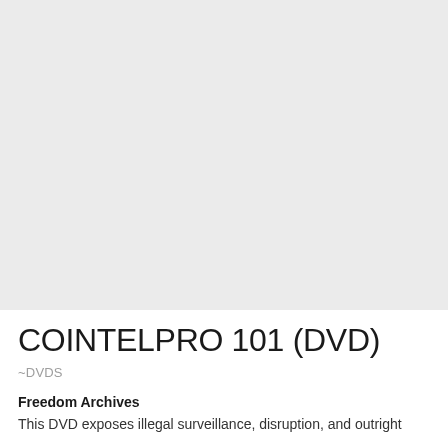[Figure (other): Light gray rectangular image placeholder area occupying the top portion of the page]
COINTELPRO 101 (DVD)
~DVDS
Freedom Archives
This DVD exposes illegal surveillance, disruption, and outright